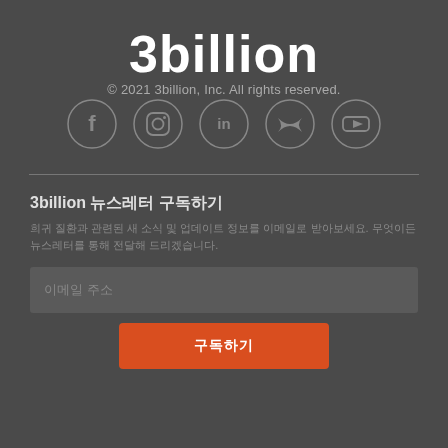3billion
© 2021 3billion, Inc. All rights reserved.
[Figure (other): Five social media icon circles: Facebook, Instagram, LinkedIn, Twitter, YouTube]
3billion 뉴스레터 구독하기
희귀 질환과 관련된 새 소식 및 업데이트 정보를 이메일로 받아보세요. 무엇이든 뉴스레터를 통해 전달해 드리겠습니다.
이메일 주소
구독하기